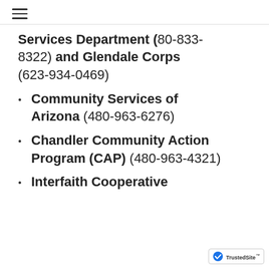≡
Services Department (80-833-8322) and Glendale Corps (623-934-0469)
Community Services of Arizona (480-963-6276)
Chandler Community Action Program (CAP) (480-963-4321)
Interfaith Cooperative